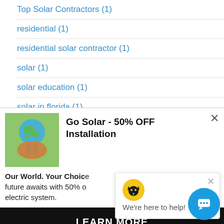Top Solar Contractors (1)
residential (1)
residential solar contractor (1)
solar (1)
solar education (1)
solar in florida (1)
[Figure (screenshot): Ad banner: Go Solar - 50% OFF Installation with image of hands holding earth globe, body text 'Our World. Your Choice... future awaits with 50% o... electric system.' and LEARN MORE button]
[Figure (screenshot): Chat popup: black cat icon on yellow background, text 'We're here to help!' with close button, and blue circular chat FAB button]